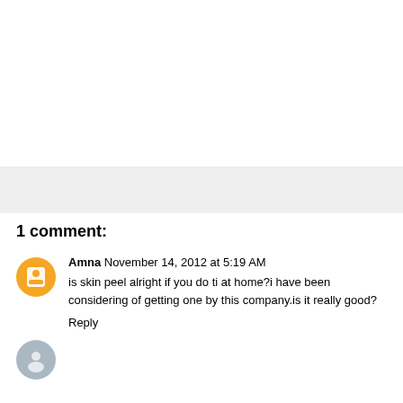1 comment:
Amna November 14, 2012 at 5:19 AM
is skin peel alright if you do ti at home?i have been considering of getting one by this company.is it really good?
Reply